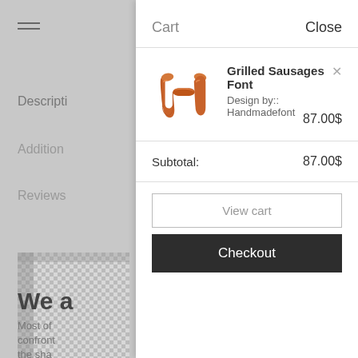[Figure (screenshot): Shopping cart panel overlay on a website. Left side shows greyed-out page content with hamburger menu icon and navigation items (Descripti, Addition, Reviews) and partial image. Right side shows white cart panel with: Cart header with Close button, a cart item (Grilled Sausages Font, Design by:: Handmadefont, 87.00$), Subtotal: 87.00$, View cart button, Checkout button.]
Cart
Close
Grilled Sausages Font
Design by:: Handmadefont
87.00$
Subtotal:
87.00$
View cart
Checkout